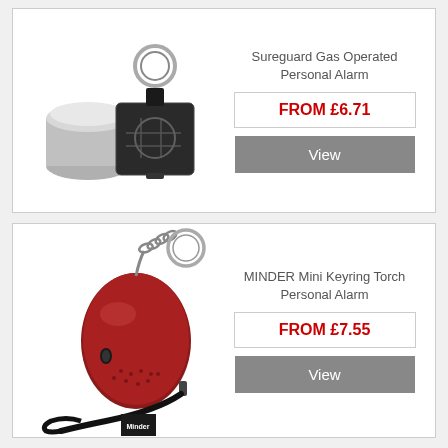[Figure (photo): Sureguard Gas Operated Personal Alarm - black keyring device with gas canister]
Sureguard Gas Operated Personal Alarm
FROM £6.71
View
[Figure (photo): MINDER Mini Keyring Torch Personal Alarm - red oval device with keyring and wrist strap]
MINDER Mini Keyring Torch Personal Alarm
FROM £7.55
View